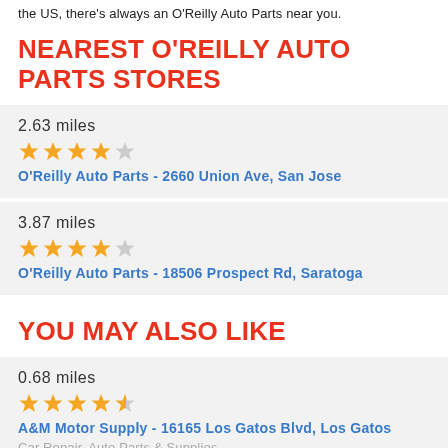the US, there's always an O'Reilly Auto Parts near you.
NEAREST O'REILLY AUTO PARTS STORES
2.63 miles | 4 stars | O'Reilly Auto Parts - 2660 Union Ave, San Jose
3.87 miles | 4 stars | O'Reilly Auto Parts - 18506 Prospect Rd, Saratoga
YOU MAY ALSO LIKE
0.68 miles | 4.5 stars | A&M Motor Supply - 16165 Los Gatos Blvd, Los Gatos | Car Repair, Auto Parts & Supplies